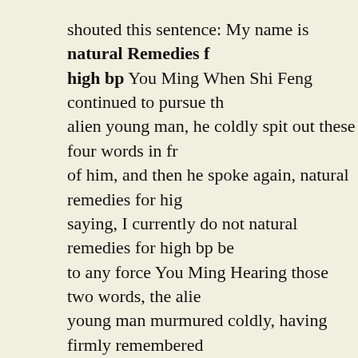shouted this sentence: My name is natural remedies for high bp You Ming When Shi Feng continued to pursue the alien young man, he coldly spit out these four words in front of him, and then he spoke again, natural remedies for high bp saying, I currently do not natural remedies for high bp belong to any force You Ming Hearing those two words, the alien young man murmured coldly, having firmly remembered the name in his heart, and then opened his mouth again, saying, You, wait for me When he finished saying this, he turned his head hypertension pharmacy List Of High Blood Pressure Pills and tried his best to how to boost blood pressure fast continue breaking through the air.
Then, the blood turned into golden light, like a golden meteor, rushing behind him, across the sky, and disappeared in a flash.
Never see each other Yuekui said to safe pain medication for high blood pressure Shi Feng You are now in the sea of